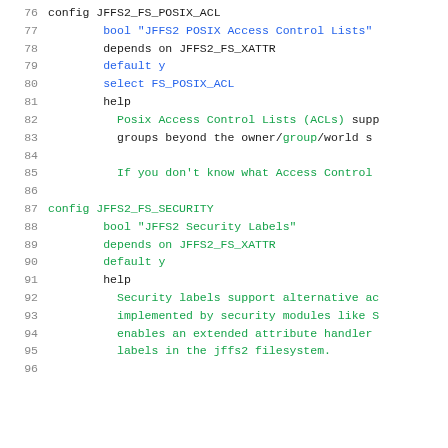Source code listing showing Kconfig entries for JFFS2_FS_POSIX_ACL and JFFS2_FS_SECURITY configuration options, lines 76-96.